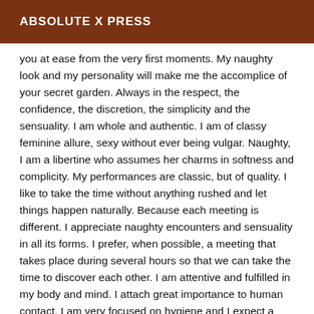ABSOLUTE X PRESS
you at ease from the very first moments. My naughty look and my personality will make me the accomplice of your secret garden. Always in the respect, the confidence, the discretion, the simplicity and the sensuality. I am whole and authentic. I am of classy feminine allure, sexy without ever being vulgar. Naughty, I am a libertine who assumes her charms in softness and complicity. My performances are classic, but of quality. I like to take the time without anything rushed and let things happen naturally. Because each meeting is different. I appreciate naughty encounters and sensuality in all its forms. I prefer, when possible, a meeting that takes place during several hours so that we can take the time to discover each other. I am attentive and fulfilled in my body and mind. I attach great importance to human contact. I am very focused on hygiene and I expect a reciprocal effort. I hope to read you soon before the pleasure of discovering you.